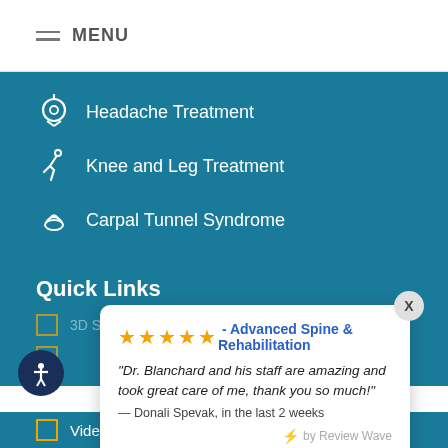MENU
Headache Treatment
Knee and Leg Treatment
Carpal Tunnel Syndrome
Quick Links
[Figure (screenshot): Review popup showing 5-star rating for Advanced Spine & Rehabilitation with quote from Donali Spevak]
★★★★★ - Advanced Spine & Rehabilitation "Dr. Blanchard and his staff are amazing and took great care of me, thank you so much!" — Donali Spevak, in the last 2 weeks by Review Wave